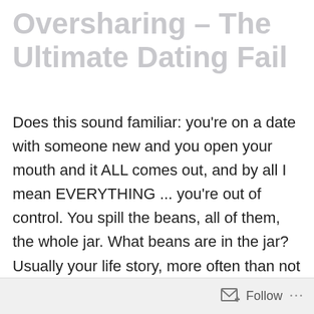Oversharing – The Ultimate Dating Fail
Does this sound familiar: you're on a date with someone new and you open your mouth and it ALL comes out, and by all I mean EVERYTHING ... you're out of control. You spill the beans, all of them, the whole jar. What beans are in the jar? Usually your life story, more often than not your past relationships, especially the ones you apparently aren't really over, your likes, your dislikes, even (gasp) your bodily functions that don't function
Follow